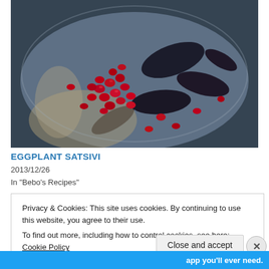[Figure (photo): Close-up photo of eggplant satsivi dish showing cooked eggplant pieces and pomegranate seeds on a plate]
EGGPLANT SATSIVI
2013/12/26
In "Bebo's Recipes"
Privacy & Cookies: This site uses cookies. By continuing to use this website, you agree to their use.
To find out more, including how to control cookies, see here: Cookie Policy
Close and accept
app you'll ever need.